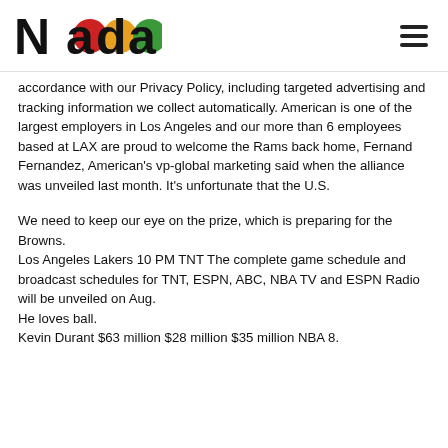Nada
accordance with our Privacy Policy, including targeted advertising and tracking information we collect automatically. American is one of the largest employers in Los Angeles and our more than 6 employees based at LAX are proud to welcome the Rams back home, Fernand Fernandez, American’s vp-global marketing said when the alliance was unveiled last month. It’s unfortunate that the U.S.
We need to keep our eye on the prize, which is preparing for the Browns.
Los Angeles Lakers 10 PM TNT The complete game schedule and broadcast schedules for TNT, ESPN, ABC, NBA TV and ESPN Radio will be unveiled on Aug.
He loves ball.
Kevin Durant $63 million $28 million $35 million NBA 8.